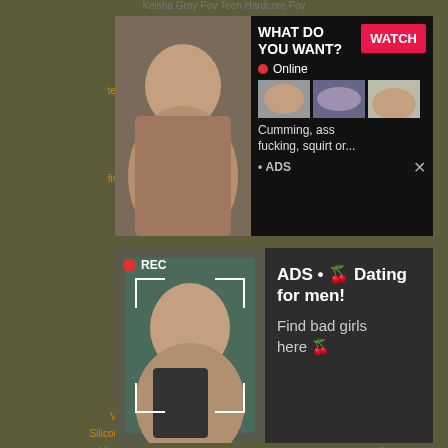Keisha Gray Pov Teen Hardcore Pov
teen,   fire...
[Figure (photo): Adult advertisement with photo and watch button overlay, showing 'WHAT DO YOU WANT?' text, WATCH button, Online indicator with red dot, thumbnail images, text 'Cumming, ass fucking, squirt or...', ADS label and X close button]
Ca  Video  Silicone |  Yuvutu    k  one  Yuvutu  asting
[Figure (photo): Adult dating advertisement with REC badge photo and text: 'ADS • 🍒 Dating for men! Find bad girls here 🍒']
© 2022 All rights reserved.
Home   Privacy Policy   DMCA   2257